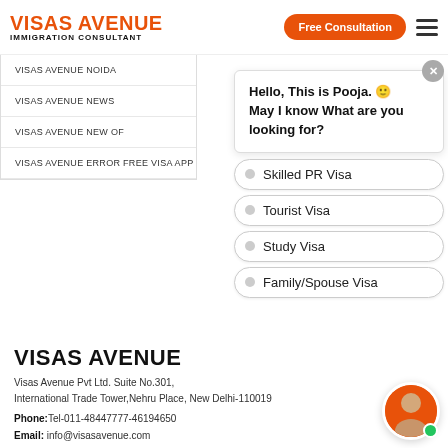VISAS AVENUE IMMIGRATION CONSULTANT | Free Consultation
VISAS AVENUE NOIDA
VISAS AVENUE NEWS
VISAS AVENUE NEW OF
VISAS AVENUE ERROR FREE VISA APP
Hello, This is Pooja. 🙂 May I know What are you looking for?
Skilled PR Visa
Tourist Visa
Study Visa
Family/Spouse Visa
VISAS AVENUE
Visas Avenue Pvt Ltd. Suite No.301, International Trade Tower, Nehru Place, New Delhi-110019
Phone: Tel-011-48447777-46194650
Email: info@visasavenue.com